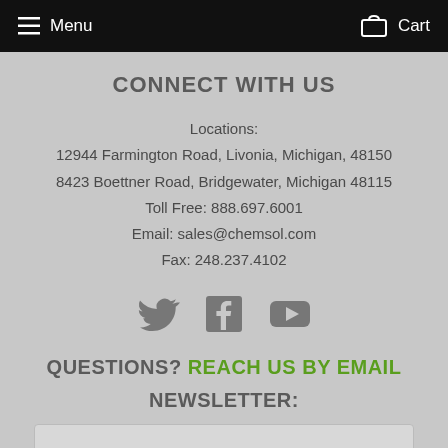Menu  Cart
CONNECT WITH US
Locations:
12944 Farmington Road, Livonia, Michigan, 48150
8423 Boettner Road, Bridgewater, Michigan 48115
Toll Free: 888.697.6001
Email: sales@chemsol.com
Fax: 248.237.4102
[Figure (infographic): Twitter, Facebook, and YouTube social media icons in gray]
QUESTIONS? REACH US BY EMAIL
NEWSLETTER: